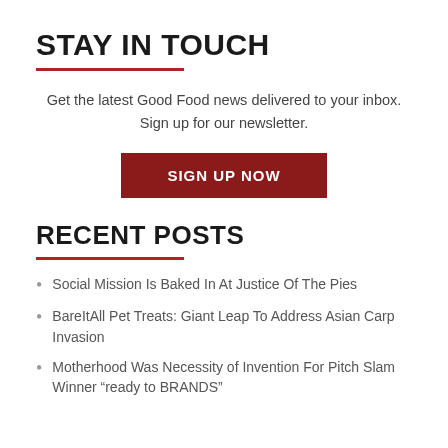STAY IN TOUCH
Get the latest Good Food news delivered to your inbox. Sign up for our newsletter.
SIGN UP NOW
RECENT POSTS
Social Mission Is Baked In At Justice Of The Pies
BareItAll Pet Treats: Giant Leap To Address Asian Carp Invasion
Motherhood Was Necessity of Invention For Pitch Slam Winner “ready to BRANDS”